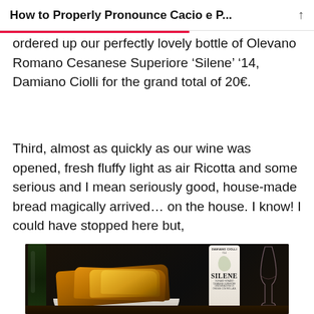How to Properly Pronounce Cacio e P...
ordered up our perfectly lovely bottle of Olevano Romano Cesanese Superiore ‘Silene’ ‘14, Damiano Ciolli for the grand total of 20€.
Third, almost as quickly as our wine was opened, fresh fluffy light as air Ricotta and some serious and I mean seriously good, house-made bread magically arrived... on the house. I know! I could have stopped here but,
[Figure (photo): Photo of house-made bread in a white bowl next to a bottle of Damiano Ciolli Silene wine and a wine glass, on a dark restaurant table]